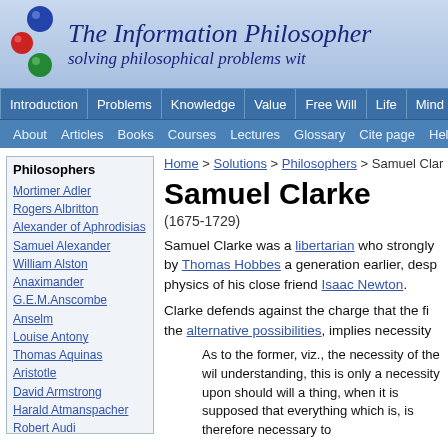The Information Philosopher — solving philosophical problems wit
Navigation: Introduction | Problems | Knowledge | Value | Free Will | Life | Mind | Cha
About  Articles  Books  Courses  Lectures  Glossary  Cite page  Help?
Home > Solutions > Philosophers > Samuel Clarke
Samuel Clarke
(1675-1729)
Samuel Clarke was a libertarian who strongly by Thomas Hobbes a generation earlier, despe physics of his close friend Isaac Newton.
Clarke defends against the charge that the fi the alternative possibilities, implies necessity
As to the former, viz., the necessity of the wi understanding, this is only a necessity upon should will a thing, when it is supposed that everything which is, is therefore necessary to
Clarke makes a fine analogy to deflect forekn something is "certain" to happen has nothing
Mortimer Adler
Rogers Albritton
Alexander of Aphrodisias
Samuel Alexander
William Alston
Anaximander
G.E.M.Anscombe
Anselm
Louise Antony
Thomas Aquinas
Aristotle
David Armstrong
Harald Atmanspacher
Robert Audi
Augustine
J.L.Austin
A.J.Ayer
Alexander Bain
Mark Balaguer
Jeffrey Barrett
William Barrett